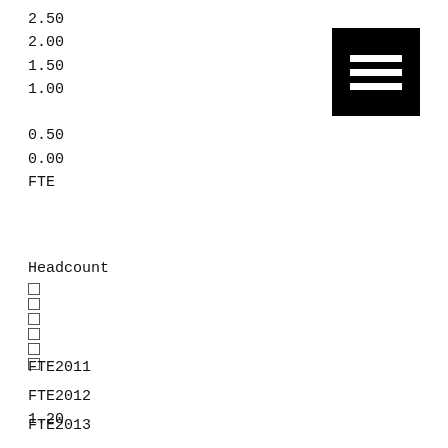2.50
2.00
1.50
1.00

0.50
0.00
FTE
[Figure (other): Black square icon with three horizontal white bars (legend/menu icon)]
Headcount
□
□
□
□
□
□
FTE2011

FTE2012

FTE2013

FTE2014

FTE2015
1.20

0.00